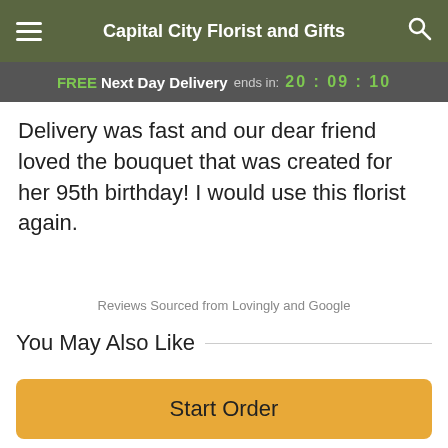Capital City Florist and Gifts
FREE Next Day Delivery ends in: 20:09:10
Delivery was fast and our dear friend loved the bouquet that was created for her 95th birthday! I would use this florist again.
Reviews Sourced from Lovingly and Google
You May Also Like
[Figure (illustration): Two green flower/plant stems partially visible at bottom of page, suggesting a product carousel]
Start Order